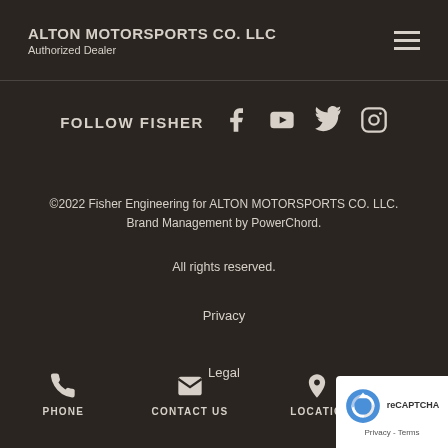ALTON MOTORSPORTS CO. LLC
Authorized Dealer
FOLLOW FISHER
©2022 Fisher Engineering for ALTON MOTORSPORTS CO. LLC. Brand Management by PowerChord.
All rights reserved.
Privacy
Legal
PHONE
CONTACT US
LOCATIO